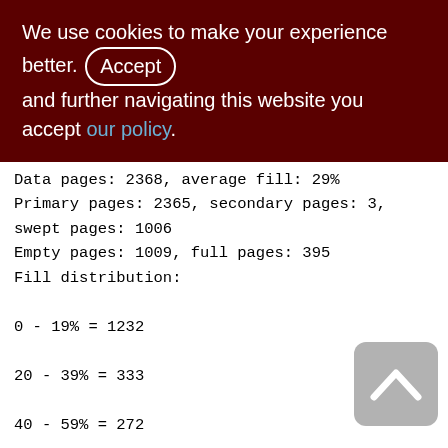We use cookies to make your experience better. By accepting and further navigating this website you accept our policy.
Data pages: 2368, average fill: 29%
Primary pages: 2365, secondary pages: 3, swept pages: 1006
Empty pages: 1009, full pages: 395
Fill distribution:
0 - 19% = 1232
20 - 39% = 333
40 - 59% = 272
60 - 79% = 247
80 - 99% = 284
Index XQD_1200_2000_WARE_SOP_ROP_SND (0)